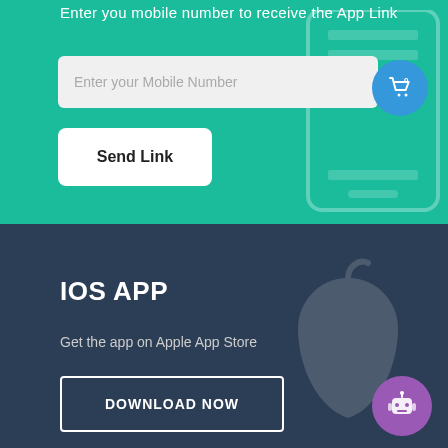Enter you mobile number to receive the App Link
[Figure (screenshot): Mobile input form on teal background with text field for mobile number and Send Link button]
IOS APP
Get the app on Apple App Store
DOWNLOAD NOW